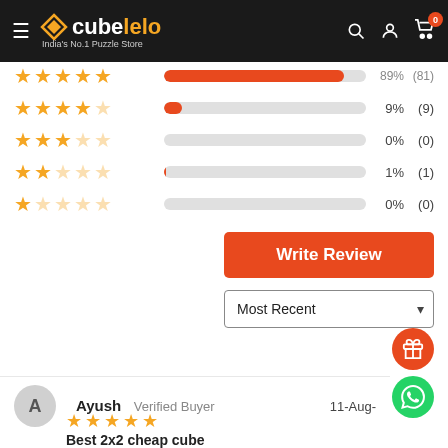cubelelo — India's No.1 Puzzle Store
[Figure (infographic): Rating distribution bars: 4-star 9% (9), 3-star 0% (0), 2-star 1% (1), 1-star 0% (0)]
Write Review
Most Recent
Ayush  Verified Buyer   11-Aug-
[Figure (infographic): 5 filled orange stars rating]
Best 2x2 cheap cube